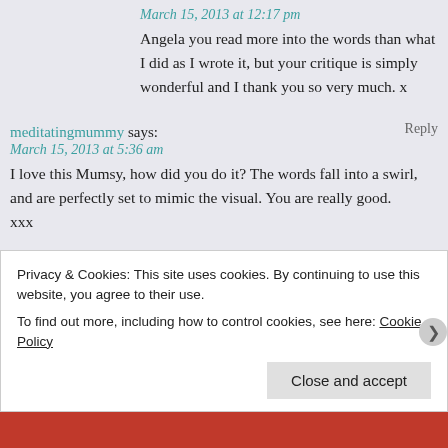March 15, 2013 at 12:17 pm
Angela you read more into the words than what I did as I wrote it, but your critique is simply wonderful and I thank you so very much. x
meditatingmummy says:
Reply
March 15, 2013 at 5:36 am
I love this Mumsy, how did you do it? The words fall into a swirl, and are perfectly set to mimic the visual. You are really good.
xxx
ramblingsfromamum says:
Reply
March 15, 2013 at 12:20 pm
I am flabbergasted by the comments I have received by you and everyone. I don't know really what I did, I just felt the words
Privacy & Cookies: This site uses cookies. By continuing to use this website, you agree to their use.
To find out more, including how to control cookies, see here: Cookie Policy
Close and accept